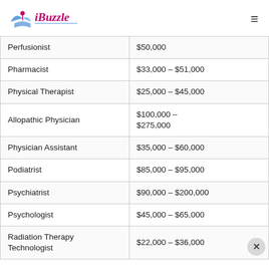[Figure (logo): iBuzzle logo with stylized bird/book icon in purple and blue]
| Job Title | Salary |
| --- | --- |
| Perfusionist | $50,000 |
| Pharmacist | $33,000 – $51,000 |
| Physical Therapist | $25,000 – $45,000 |
| Allopathic Physician | $100,000 – $275,000 |
| Physician Assistant | $35,000 – $60,000 |
| Podiatrist | $85,000 – $95,000 |
| Psychiatrist | $90,000 – $200,000 |
| Psychologist | $45,000 – $65,000 |
| Radiation Therapy Technologist | $22,000 – $36,000 |